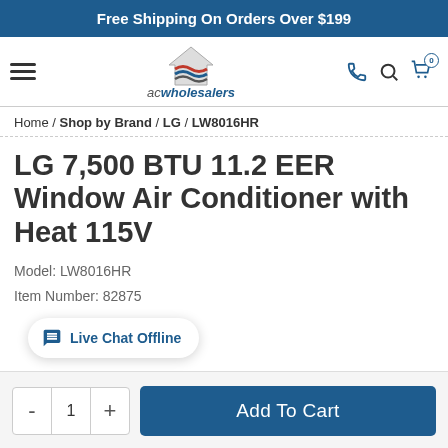Free Shipping On Orders Over $199
[Figure (logo): ACWholesalers logo with house/wave icon and text 'acwholesalers']
Home / Shop by Brand / LG / LW8016HR
LG 7,500 BTU 11.2 EER Window Air Conditioner with Heat 115V
Model: LW8016HR
Item Number: 82875
Live Chat Offline
- 1 +   Add To Cart